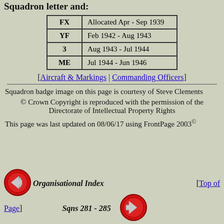Squadron letter and:
| Code | Period |
| --- | --- |
| FX | Allocated Apr - Sep 1939 |
| YF | Feb 1942 - Aug 1943 |
| 3 | Aug 1943 - Jul 1944 |
| ME | Jul 1944 - Jun 1946 |
[Aircraft & Markings | Commanding Officers]
Squadron badge image on this page is courtesy of Steve Clements
© Crown Copyright is reproduced with the permission of the Directorate of Intellectual Property Rights
This page was last updated on 08/06/17 using FrontPage 2003©
Organisational Index   [Top of Page]   Sqns 281 - 285